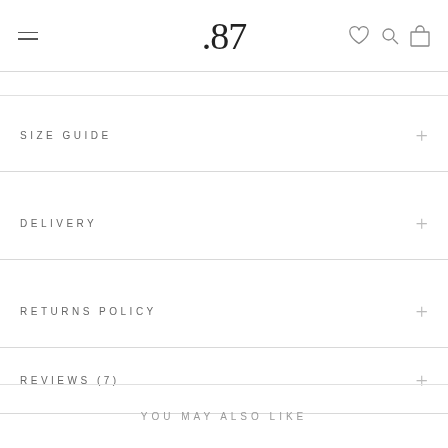.87
SIZE GUIDE
DELIVERY
RETURNS POLICY
REVIEWS (7)
YOU MAY ALSO LIKE